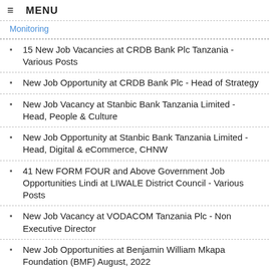≡ MENU
Monitoring
15 New Job Vacancies at CRDB Bank Plc Tanzania - Various Posts
New Job Opportunity at CRDB Bank Plc - Head of Strategy
New Job Vacancy at Stanbic Bank Tanzania Limited - Head, People & Culture
New Job Opportunity at Stanbic Bank Tanzania Limited - Head, Digital & eCommerce, CHNW
41 New FORM FOUR and Above Government Job Opportunities Lindi at LIWALE District Council - Various Posts
New Job Vacancy at VODACOM Tanzania Plc - Non Executive Director
New Job Opportunities at Benjamin William Mkapa Foundation (BMF) August, 2022
INSTALL APP YETU ⇒ BONYEZA HAPA
Medical Doctor